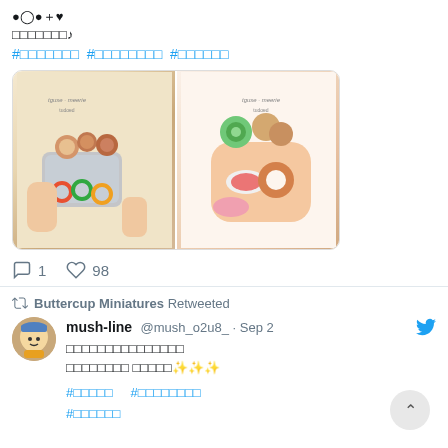Japanese text with music note
Hashtags in Japanese
[Figure (photo): Two photos of miniature food items - tiny pastries, donuts and desserts in a small tin box and held in hand]
1 comment, 98 likes
Buttercup Miniatures Retweeted
mush-line @mush_o2u8_ · Sep 2
Japanese tweet text with sparkle emojis ✨✨✨
Hashtags in Japanese